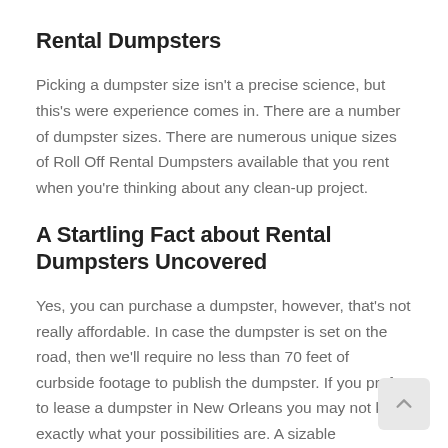Rental Dumpsters
Picking a dumpster size isn't a precise science, but this's were experience comes in. There are a number of dumpster sizes. There are numerous unique sizes of Roll Off Rental Dumpsters available that you rent when you're thinking about any clean-up project.
A Startling Fact about Rental Dumpsters Uncovered
Yes, you can purchase a dumpster, however, that's not really affordable. In case the dumpster is set on the road, then we'll require no less than 70 feet of curbside footage to publish the dumpster. If you prefer to lease a dumpster in New Orleans you may not know exactly what your possibilities are. A sizable construction dumpsters Reading is excellent for all your large construction jobs.